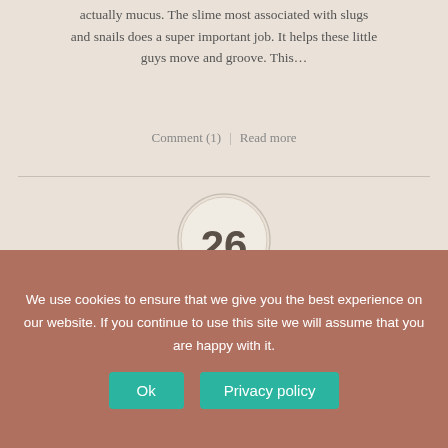actually mucus. The slime most associated with slugs and snails does a super important job. It helps these little guys move and groove. This…
Comment (1)  |  Read more
[Figure (illustration): Circular date badge with '26' in large numbers and 'january' on a banner ribbon below]
IT'S THE NOSTALGIA FOR ME
Retro Slime Company is built on the concept of nostalgia. We want to take you back to simpler times, so listen to us and let us transport you. I am older and computers started defining my life; we were offered car phones. When I got my first…
We use cookies to ensure that we give you the best experience on our website. If you continue to use this site we will assume that you are happy with it.
Ok   Privacy policy